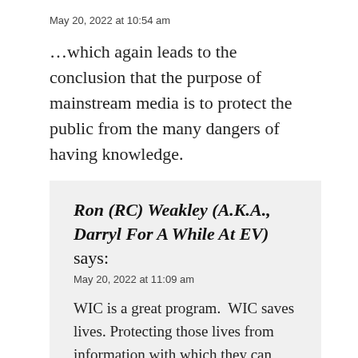May 20, 2022 at 10:54 am
…which again leads to the conclusion that the purpose of mainstream media is to protect the public from the many dangers of having knowledge.
Ron (RC) Weakley (A.K.A., Darryl For A While At EV) says:
May 20, 2022 at 11:09 am
WIC is a great program.  WIC saves lives. Protecting those lives from information with which they can help themselves under adverse conditions might be a little overbearing flaw of elitism, possibly even self-serving avoidance of seeming